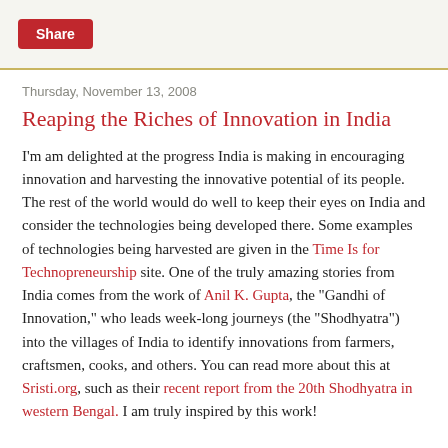Share
Thursday, November 13, 2008
Reaping the Riches of Innovation in India
I'm am delighted at the progress India is making in encouraging innovation and harvesting the innovative potential of its people. The rest of the world would do well to keep their eyes on India and consider the technologies being developed there. Some examples of technologies being harvested are given in the Time Is for Technopreneurship site. One of the truly amazing stories from India comes from the work of Anil K. Gupta, the "Gandhi of Innovation," who leads week-long journeys (the "Shodhyatra") into the villages of India to identify innovations from farmers, craftsmen, cooks, and others. You can read more about this at Sristi.org, such as their recent report from the 20th Shodhyatra in western Bengal. I am truly inspired by this work!